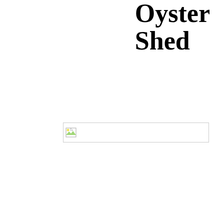Oyster Shed
[Figure (photo): Broken/missing image placeholder — a small broken image icon on the left side of a wide thin rectangular placeholder box]